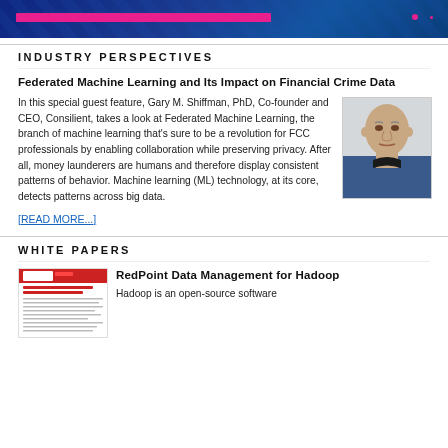[Figure (illustration): Dark blue banner with pink/magenta horizontal bar element and circuit board pattern overlay]
INDUSTRY PERSPECTIVES
Federated Machine Learning and Its Impact on Financial Crime Data
In this special guest feature, Gary M. Shiffman, PhD, Co-founder and CEO, Consilient, takes a look at Federated Machine Learning, the branch of machine learning that's sure to be a revolution for FCC professionals by enabling collaboration while preserving privacy. After all, money launderers are humans and therefore display consistent patterns of behavior. Machine learning (ML) technology, at its core, detects patterns across big data.
[Figure (photo): Headshot photo of Gary M. Shiffman, PhD - bald man in blue shirt]
[READ MORE...]
WHITE PAPERS
[Figure (screenshot): Thumbnail of a white paper document with red header reading 'Bridging the Big Data Skills Gap']
RedPoint Data Management for Hadoop
Hadoop is an open-source software